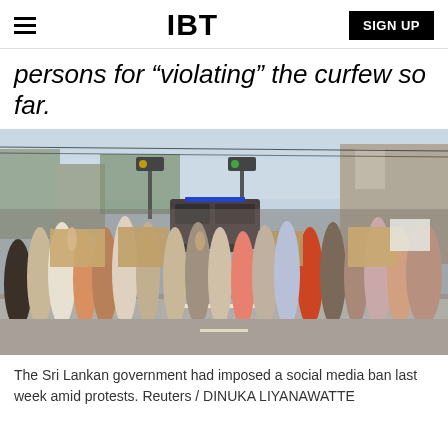IBT | SIGN UP
persons for "violating" the curfew so far.
[Figure (photo): Crowd of protesters holding cardboard signs blocking a street in Sri Lanka, with police vehicles visible in the background and traffic signals overhead.]
The Sri Lankan government had imposed a social media ban last week amid protests. Reuters / DINUKA LIYANAWATTE